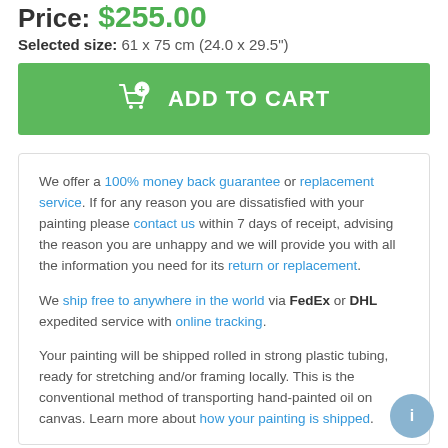Price: $255.00
Selected size: 61 x 75 cm (24.0 x 29.5")
ADD TO CART
We offer a 100% money back guarantee or replacement service. If for any reason you are dissatisfied with your painting please contact us within 7 days of receipt, advising the reason you are unhappy and we will provide you with all the information you need for its return or replacement.

We ship free to anywhere in the world via FedEx or DHL expedited service with online tracking.

Your painting will be shipped rolled in strong plastic tubing, ready for stretching and/or framing locally. This is the conventional method of transporting hand-painted oil on canvas. Learn more about how your painting is shipped.